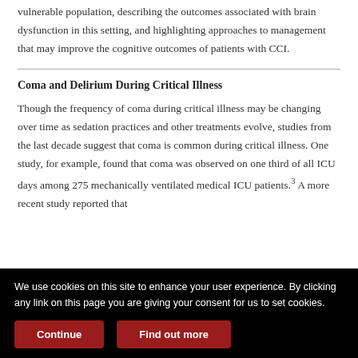vulnerable population, describing the outcomes associated with brain dysfunction in this setting, and highlighting approaches to management that may improve the cognitive outcomes of patients with CCI.
Coma and Delirium During Critical Illness
Though the frequency of coma during critical illness may be changing over time as sedation practices and other treatments evolve, studies from the last decade suggest that coma is common during critical illness. One study, for example, found that coma was observed on one third of all ICU days among 275 mechanically ventilated medical ICU patients.3 A more recent study reported that
We use cookies on this site to enhance your user experience. By clicking any link on this page you are giving your consent for us to set cookies.